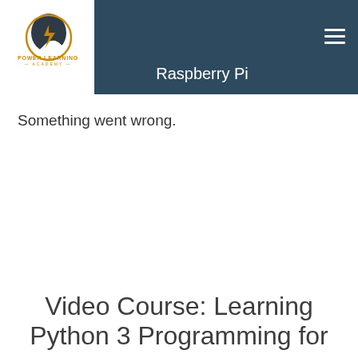Raspberry Pi
[Figure (logo): Power Learning Academy logo: head silhouette with lightning bolt, orange text reading POWER LEARNING ACADEMY]
Something went wrong.
Video Course: Learning Python 3 Programming for